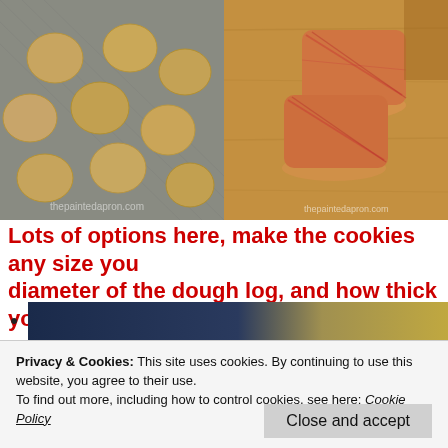[Figure (photo): Photo of cookie dough rounds on a baking sheet tray, golden/tan colored]
[Figure (photo): Photo of two logs of cookie dough wrapped in red plastic wrap on a wooden cutting board]
Lots of options here, make the cookies any size you diameter of the dough log, and how thick you slice
Privacy & Cookies: This site uses cookies. By continuing to use this website, you agree to their use.
To find out more, including how to control cookies, see here: Cookie Policy
Close and accept